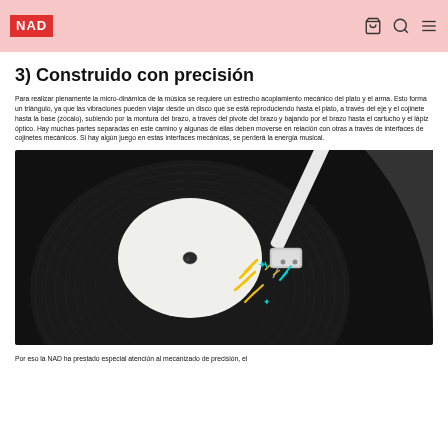NAD
3) Construido con precisión
Para realizar plenamente la micro-dinámica de la música se requiere un estrecho acoplamiento mecánico del plato y el arma. Esto forma un triángulo, ya que las vibraciones pueden viajar desde un disco que se está reproduciendo hasta el plato, a través del eje y el cojinete hasta la base (zócalo), subiendo por la montura del brazo, a través del pivote del brazo y bajando por el brazo hasta el cartucho y el lápiz óptico. Hay muchas partes separadas en este camino y algunas de ellas deben moverse en relación con otras a través de interfaces de cojinetes mecánicos. Si hay algún juego en estas interfaces mecánicas, se perderá la energía musical.
[Figure (illustration): Illustration of a vinyl record turntable with a tonearm and cartridge, showing colorful lightning bolt and star graphics near the stylus on a dark vinyl record.]
Por eso la NAD ha prestado especial atención al mecanizado de precisión, el